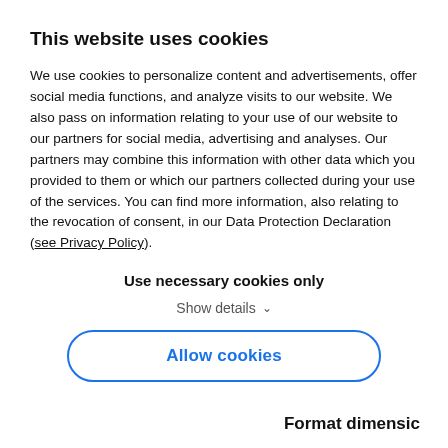This website uses cookies
We use cookies to personalize content and advertisements, offer social media functions, and analyze visits to our website. We also pass on information relating to your use of our website to our partners for social media, advertising and analyses. Our partners may combine this information with other data which you provided to them or which our partners collected during your use of the services. You can find more information, also relating to the revocation of consent, in our Data Protection Declaration (see Privacy Policy).
Use necessary cookies only
Show details
Allow cookies
Format dimensic